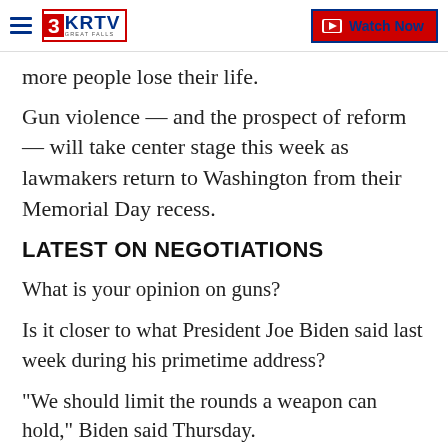3KRTV GREAT FALLS | Watch Now
more people lose their life.
Gun violence — and the prospect of reform — will take center stage this week as lawmakers return to Washington from their Memorial Day recess.
LATEST ON NEGOTIATIONS
What is your opinion on guns?
Is it closer to what President Joe Biden said last week during his primetime address?
"We should limit the rounds a weapon can hold," Biden said Thursday.